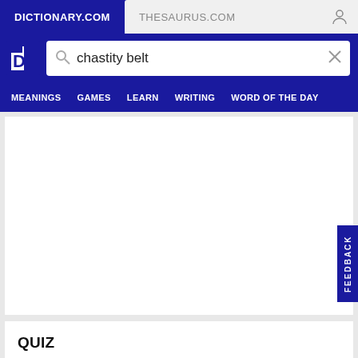DICTIONARY.COM
THESAURUS.COM
chastity belt
MEANINGS   GAMES   LEARN   WRITING   WORD OF THE DAY
[Figure (other): Advertisement white box area]
QUIZ
FEEDBACK